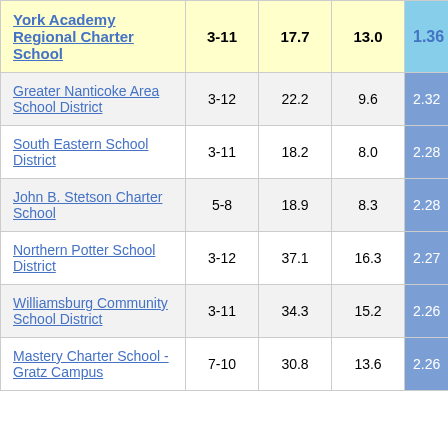| School/District | Grades | Col3 | Col4 | Ratio |
| --- | --- | --- | --- | --- |
| York Academy Regional Charter School | 3-11 | 17.7 | 13.0 | 1.36 |
| Greater Nanticoke Area School District | 3-12 | 22.2 | 9.6 | 2.32 |
| South Eastern School District | 3-11 | 18.2 | 8.0 | 2.28 |
| John B. Stetson Charter School | 5-8 | 18.9 | 8.3 | 2.28 |
| Northern Potter School District | 3-12 | 37.1 | 16.3 | 2.27 |
| Williamsburg Community School District | 3-11 | 34.3 | 15.2 | 2.26 |
| Mastery Charter School - Gratz Campus | 7-10 | 30.8 | 13.6 | 2.26 |